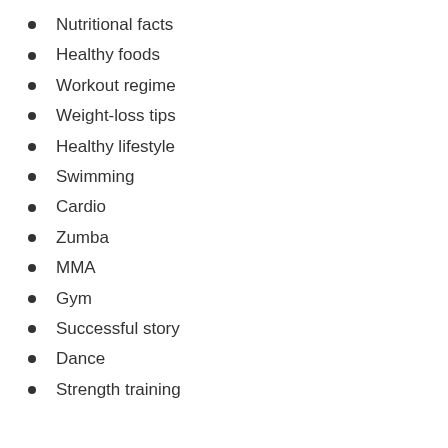Nutritional facts
Healthy foods
Workout regime
Weight-loss tips
Healthy lifestyle
Swimming
Cardio
Zumba
MMA
Gym
Successful story
Dance
Strength training